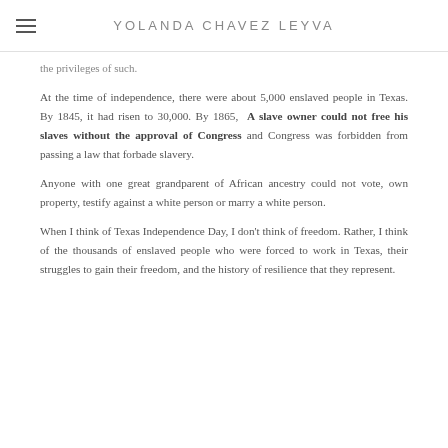YOLANDA CHAVEZ LEYVA
the privileges of such.
At the time of independence, there were about 5,000 enslaved people in Texas. By 1845, it had risen to 30,000. By 1865, A slave owner could not free his slaves without the approval of Congress and Congress was forbidden from passing a law that forbade slavery.
Anyone with one great grandparent of African ancestry could not vote, own property, testify against a white person or marry a white person.
When I think of Texas Independence Day, I don't think of freedom. Rather, I think of the thousands of enslaved people who were forced to work in Texas, their struggles to gain their freedom, and the history of resilience that they represent.